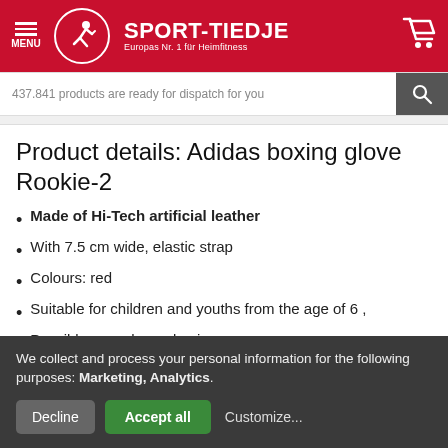SPORT-TIEDJE — Europas Nr. 1 für Heimfitness
437.841 products are ready for dispatch for you
Product details: Adidas boxing glove Rookie-2
Made of Hi-Tech artificial leather
With 7.5 cm wide, elastic strap
Colours: red
Suitable for children and youths from the age of 6 ,
Possible uses: home boxing ,
Material: artificial leather
We collect and process your personal information for the following purposes: Marketing, Analytics.